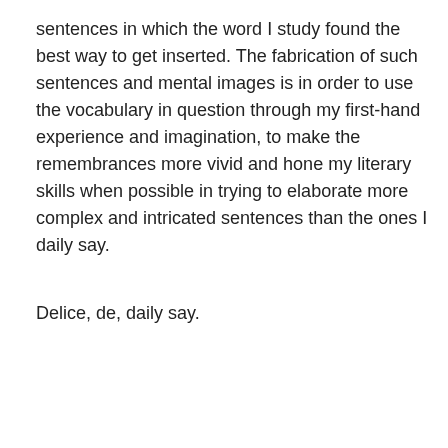sentences in which the word I study found the best way to get inserted. The fabrication of such sentences and mental images is in order to use the vocabulary in question through my first-hand experience and imagination, to make the remembrances more vivid and hone my literary skills when possible in trying to elaborate more complex and intricated sentences than the ones I daily say.
Delice, de, daily say.